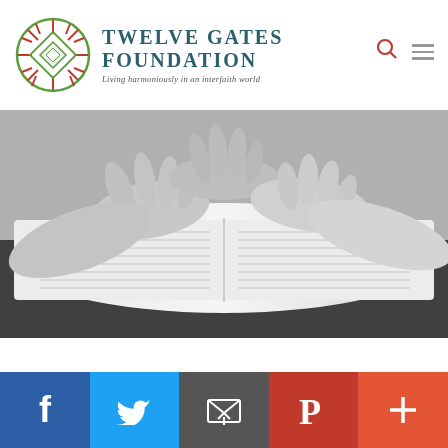[Figure (logo): Twelve Gates Foundation logo: circular compass-rose emblem in green and red-orange, with text 'Twelve Gates Foundation' and tagline 'Living harmoniously in an interfaith world']
[Figure (photo): Black and white photograph of multiple hands resting on an open book, suggesting community, faith, and togetherness]
[Figure (infographic): Social media share bar at bottom with five buttons: Facebook (dark blue, f), Twitter (light blue, bird), Email (grey, envelope), Pinterest (red, P), and More/Plus (orange-red, +)]